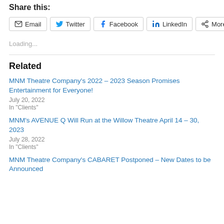Share this:
Email
Twitter
Facebook
LinkedIn
More
Loading...
Related
MNM Theatre Company's 2022 – 2023 Season Promises Entertainment for Everyone!
July 20, 2022
In "Clients"
MNM's AVENUE Q Will Run at the Willow Theatre April 14 – 30, 2023
July 28, 2022
In "Clients"
MNM Theatre Company's CABARET Postponed – New Dates to be Announced